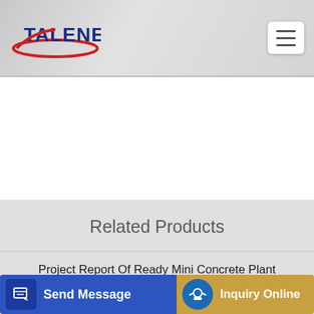[Figure (logo): TALENET company logo with blue text and red oval swoosh]
[Figure (other): Hamburger menu button (three horizontal lines) in white rounded rectangle]
Related Products
Project Report Of Ready Mini Concrete Plant
Hopper Concrete Mixer in Coimbatore RMC Plant
…Repair…
[Figure (other): Send Message button with blue background and edit icon]
[Figure (other): Inquiry Online button with gold background and headset icon]